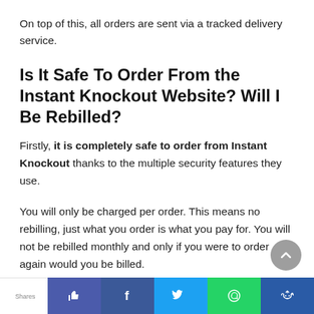On top of this, all orders are sent via a tracked delivery service.
Is It Safe To Order From the Instant Knockout Website? Will I Be Rebilled?
Firstly, it is completely safe to order from Instant Knockout thanks to the multiple security features they use.
You will only be charged per order. This means no rebilling, just what you order is what you pay for. You will not be rebilled monthly and only if you were to order again would you be billed.
How Much Does Instant Knockout Cost?